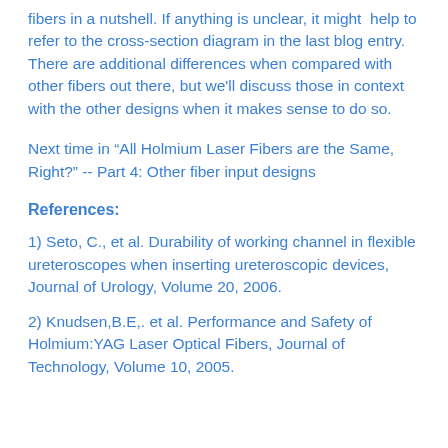fibers in a nutshell. If anything is unclear, it might help to refer to the cross-section diagram in the last blog entry. There are additional differences when compared with other fibers out there, but we'll discuss those in context with the other designs when it makes sense to do so.
Next time in “All Holmium Laser Fibers are the Same, Right?” -- Part 4: Other fiber input designs
References:
1) Seto, C., et al. Durability of working channel in flexible ureteroscopes when inserting ureteroscopic devices, Journal of Urology, Volume 20, 2006.
2) Knudsen,B.E,. et al. Performance and Safety of Holmium:YAG Laser Optical Fibers, Journal of Technology, Volume 10, 2005.